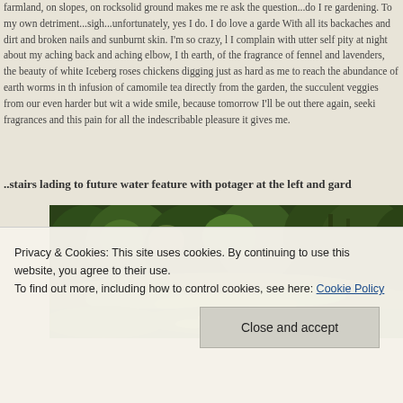farmland, on slopes, on rocksolid ground makes me re ask the question...do I re gardening. To my own detriment...sigh...unfortunately, yes I do. I do love a garde With all its backaches and dirt and broken nails and sunburnt skin. I'm so crazy, I complain with utter self pity at night about my aching back and aching elbow, I th earth, of the fragrance of fennel and lavenders, the beauty of white Iceberg roses chickens digging just as hard as me to reach the abundance of earth worms in th infusion of camomile tea directly from the garden, the succulent veggies from our even harder but wit a wide smile, because tomorrow I'll be out there again, seeki fragrances and this pain for all the indescribable pleasure it gives me.
..stairs lading to future water feature with potager at the left and gard
[Figure (photo): Outdoor garden/nature photo showing dense green trees and lush vegetation with grass in the foreground]
Privacy & Cookies: This site uses cookies. By continuing to use this website, you agree to their use.
To find out more, including how to control cookies, see here: Cookie Policy
Close and accept